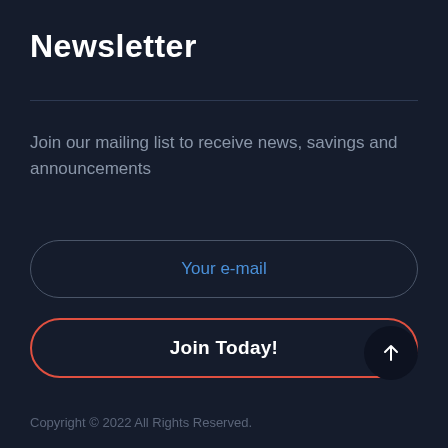Newsletter
Join our mailing list to receive news, savings and announcements
Your e-mail
Join Today!
[Figure (other): Circular scroll-to-top button with white upward arrow on dark background]
Copyright © 2022 All Rights Reserved.